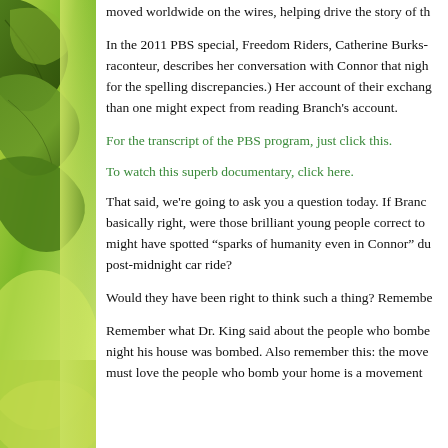[Figure (photo): Green leaves background image on the left side of the page]
moved worldwide on the wires, helping drive the story of th
In the 2011 PBS special, Freedom Riders, Catherine Burks-raconteur, describes her conversation with Connor that nigh for the spelling discrepancies.) Her account of their exchang than one might expect from reading Branch's account.
For the transcript of the PBS program, just click this.
To watch this superb documentary, click here.
That said, we're going to ask you a question today. If Branc basically right, were those brilliant young people correct to might have spotted “sparks of humanity even in Connor” du post-midnight car ride?
Would they have been right to think such a thing? Remembe
Remember what Dr. King said about the people who bombe night his house was bombed. Also remember this: the move must love the people who bomb your home is a movement